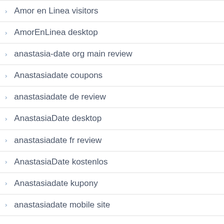Amor en Linea visitors
AmorEnLinea desktop
anastasia-date org main review
Anastasiadate coupons
anastasiadate de review
AnastasiaDate desktop
anastasiadate fr review
AnastasiaDate kostenlos
Anastasiadate kupony
anastasiadate mobile site